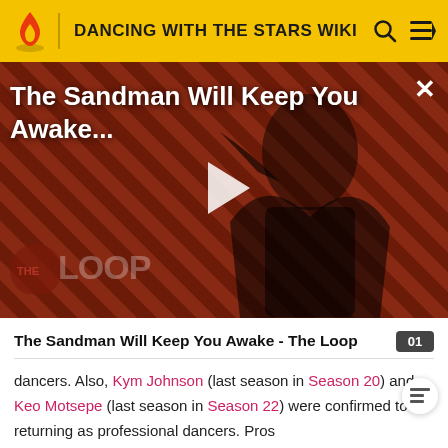DANCING WITH THE STARS WIKI
[Figure (screenshot): Video thumbnail for 'The Sandman Will Keep You Awake - The Loop' showing a dark-cloaked figure against a red diagonal-striped background with a play button overlay and THE LOOP logo in the lower left]
The Sandman Will Keep You Awake - The Loop
dancers. Also, Kym Johnson (last season in Season 20) and Keo Motsepe (last season in Season 22) were confirmed to be returning as professional dancers. Pros